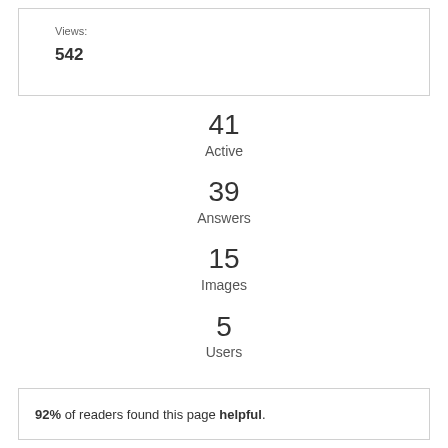Views:
542
41
Active
39
Answers
15
Images
5
Users
92% of readers found this page helpful.